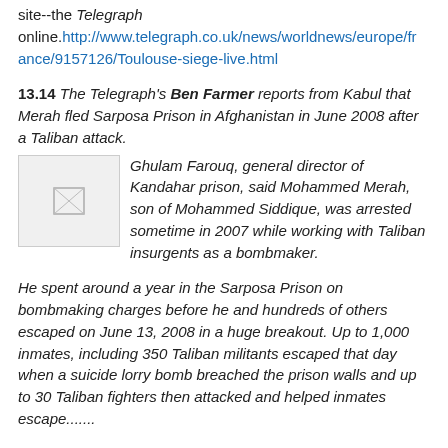site--the Telegraph online. http://www.telegraph.co.uk/news/worldnews/europe/france/9157126/Toulouse-siege-live.html
13.14 The Telegraph's Ben Farmer reports from Kabul that Merah fled Sarposa Prison in Afghanistan in June 2008 after a Taliban attack. Ghulam Farouq, general director of Kandahar prison, said Mohammed Merah, son of Mohammed Siddique, was arrested sometime in 2007 while working with Taliban insurgents as a bombmaker.
[Figure (photo): Small placeholder image thumbnail, broken image icon]
He spent around a year in the Sarposa Prison on bombmaking charges before he and hundreds of others escaped on June 13, 2008 in a huge breakout. Up to 1,000 inmates, including 350 Taliban militants escaped that day when a suicide lorry bomb breached the prison walls and up to 30 Taliban fighters then attacked and helped inmates escape.......